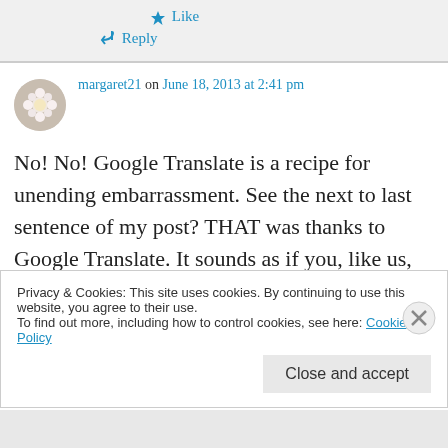★ Like
↳ Reply
margaret21 on June 18, 2013 at 2:41 pm
No! No! Google Translate is a recipe for unending embarrassment. See the next to last sentence of my post? THAT was thanks to Google Translate. It sounds as if you, like us, can rely on a Spanish speaking daughter,
Privacy & Cookies: This site uses cookies. By continuing to use this website, you agree to their use.
To find out more, including how to control cookies, see here: Cookie Policy
Close and accept